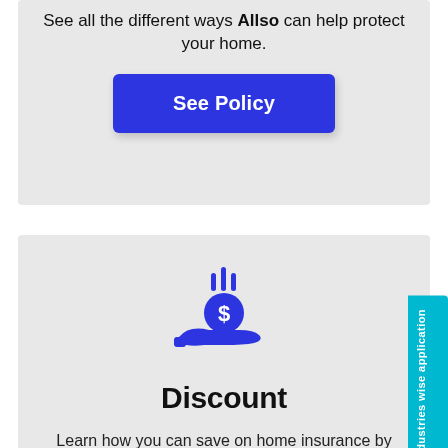See all the different ways Allso can help protect your home.
See Policy
[Figure (illustration): Blue icon showing a hand receiving a dollar coin with upward bars above it, representing savings or discount]
Discount
Learn how you can save on home insurance by browsing discounts.